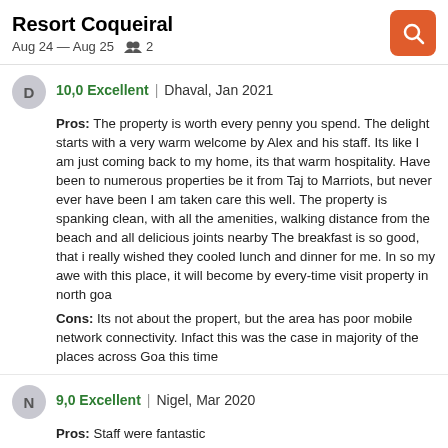Resort Coqueiral
Aug 24 – Aug 25  2
10,0 Excellent | Dhaval, Jan 2021
Pros: The property is worth every penny you spend. The delight starts with a very warm welcome by Alex and his staff. Its like I am just coming back to my home, its that warm hospitality. Have been to numerous properties be it from Taj to Marriots, but never ever have been I am taken care this well. The property is spanking clean, with all the amenities, walking distance from the beach and all delicious joints nearby The breakfast is so good, that i really wished they cooled lunch and dinner for me. In so my awe with this place, it will become by every-time visit property in north goa
Cons: Its not about the propert, but the area has poor mobile network connectivity. Infact this was the case in majority of the places across Goa this time
9,0 Excellent | Nigel, Mar 2020
Pros: Staff were fantastic
Cons: The suggestion that the property has sea view rooms is misleading. It's next to the beach but only some rooms have a